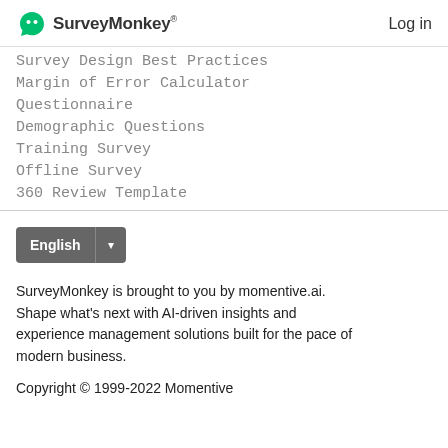SurveyMonkey  Log in
Survey Design Best Practices
Margin of Error Calculator
Questionnaire
Demographic Questions
Training Survey
Offline Survey
360 Review Template
English ▾
SurveyMonkey is brought to you by momentive.ai. Shape what's next with AI-driven insights and experience management solutions built for the pace of modern business.
Copyright © 1999-2022 Momentive